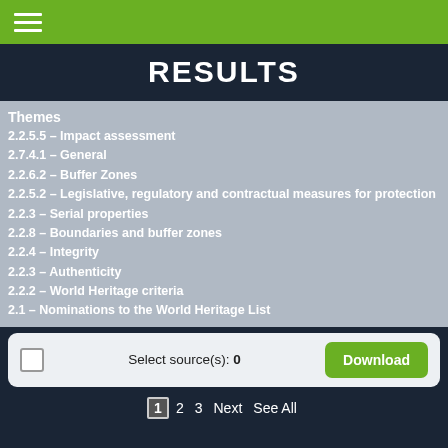≡
RESULTS
Themes
2.2.5.5 – Impact assessment
2.7.4.1 – General
2.2.6.2 – Buffer Zones
2.2.5.2 – Legislative, regulatory and contractual measures for protection
2.2.3 – Serial properties
2.2.8 – Boundaries and buffer zones
2.2.4 – Integrity
2.2.3 – Authenticity
2.2.2 – World Heritage criteria
2.1 – Nominations to the World Heritage List
Select source(s): 0
Download
1 2 3 Next See All